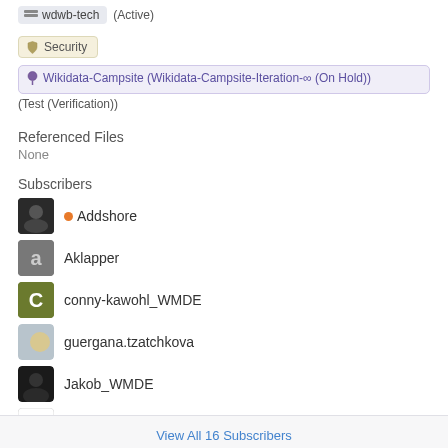wdwb-tech (Active)
Security
Wikidata-Campsite (Wikidata-Campsite-Iteration-∞ (On Hold))
(Test (Verification))
Referenced Files
None
Subscribers
Addshore
Aklapper
conny-kawohl_WMDE
guergana.tzatchkova
Jakob_WMDE
karapayneWMDE
Ladsgroup
View All 16 Subscribers